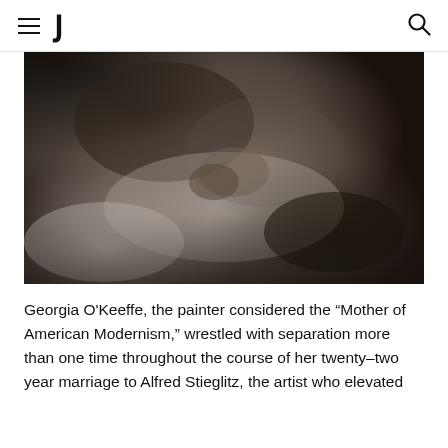d
[Figure (photo): Black and white photograph showing a figure reclining, close-up view with soft focus and high contrast shadows, reminiscent of fine art photography in the style of Alfred Stieglitz.]
Georgia O'Keeffe, the painter considered the “Mother of American Modernism,” wrestled with separation more than one time throughout the course of her twenty-two year marriage to Alfred Stieglitz, the artist who elevated